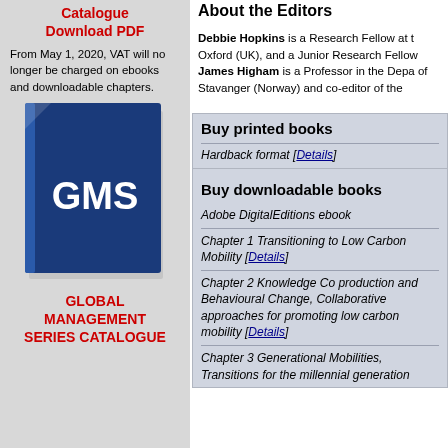Catalogue
Download PDF
From May 1, 2020, VAT will no longer be charged on ebooks and downloadable chapters.
[Figure (logo): GMS (Global Management Series) logo - blue folder/book with white GMS text]
GLOBAL MANAGEMENT SERIES CATALOGUE
About the Editors
Debbie Hopkins is a Research Fellow at Oxford (UK), and a Junior Research Fellow. James Higham is a Professor in the Department of Stavanger (Norway) and co-editor of the...
Buy printed books
Hardback format [Details]
Buy downloadable books
Adobe DigitalEditions ebook
Chapter 1 Transitioning to Low Carbon Mobility [Details]
Chapter 2 Knowledge Co production and Behavioural Change, Collaborative approaches for promoting low carbon mobility [Details]
Chapter 3 Generational Mobilities, Transitions for the millennial generation